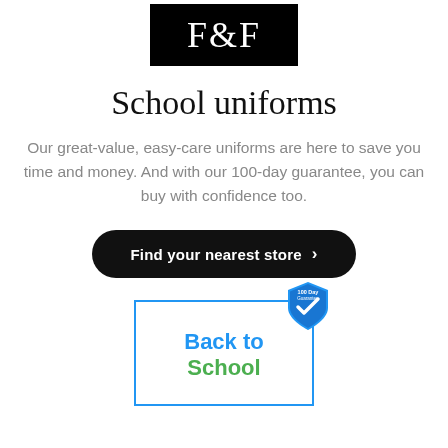[Figure (logo): F&F brand logo — white text on black rectangle background]
School uniforms
Our great-value, easy-care uniforms are here to save you time and money. And with our 100-day guarantee, you can buy with confidence too.
[Figure (other): Black pill-shaped button with text 'Find your nearest store' and a right chevron arrow]
[Figure (logo): Back to School badge with blue border. Text: 'Back to School' in multicolored letters. '100 Day Guarantee' shield badge in top-right corner.]